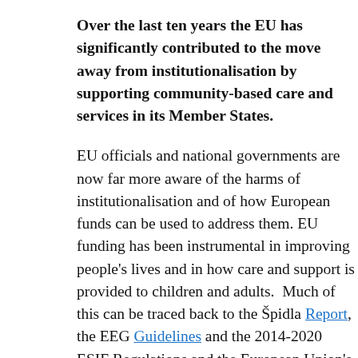Over the last ten years the EU has significantly contributed to the move away from institutionalisation by supporting community-based care and services in its Member States.
EU officials and national governments are now far more aware of the harms of institutionalisation and of how European funds can be used to address them. EU funding has been instrumental in improving people's lives and in how care and support is provided to children and adults. Much of this can be traced back to the Špidla Report, the EEG Guidelines and the 2014-2020 ESIF Regulations and the European Union's s efforts to provide guidance and resources.
Looking ahead, there is still a long way to go in order to build inclusive societies. EU policies and funding have not always been effective and institutionalisation remains a problem in Europe.
Over 1 million people in the EU still live in institutions, which isolate them from society and deny them control over their lives. Many mo...